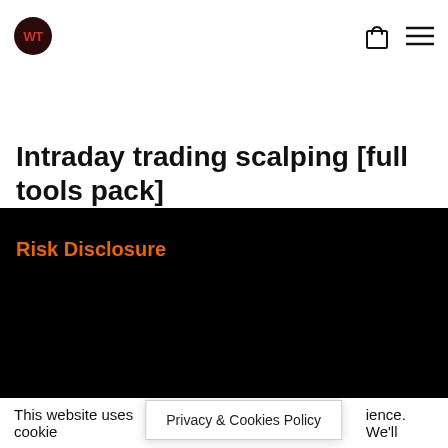WT [logo] / cart icon / menu icon
Intraday trading scalping [full tools pack]
€99,00
Risk Disclosure
This website uses cookies  ience. We'll
Privacy & Cookies Policy